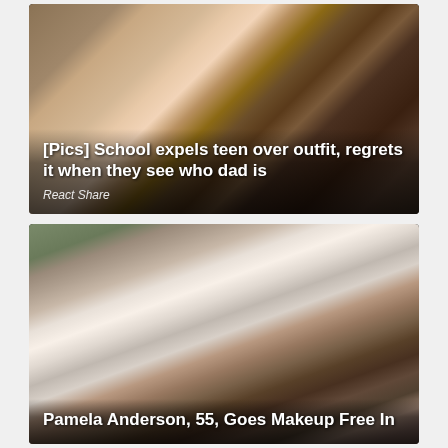[Figure (photo): A teenage girl in a pink tank top and denim shorts standing next to an older man in a white dress shirt, in front of a doorway.]
[Pics] School expels teen over outfit, regrets it when they see who dad is
React Share
[Figure (photo): A blonde woman wearing glasses and a white top, talking on a phone outdoors with flower pots in the background.]
Pamela Anderson, 55, Goes Makeup Free In